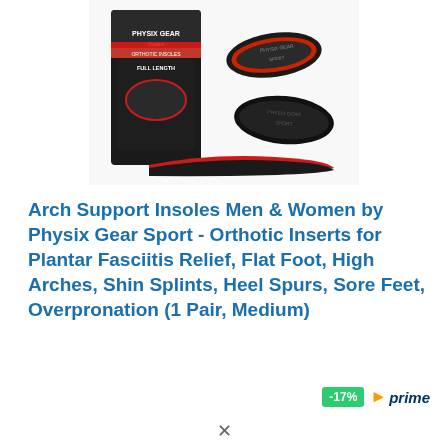[Figure (photo): Product photo showing Physix Gear Sport orthotic insoles — a product box and two insoles displayed on a white background. The insoles are black with red accents and 'PHYSIX GEAR SPORT' branding.]
Arch Support Insoles Men & Women by Physix Gear Sport - Orthotic Inserts for Plantar Fasciitis Relief, Flat Foot, High Arches, Shin Splints, Heel Spurs, Sore Feet, Overpronation (1 Pair, Medium)
-17%  prime